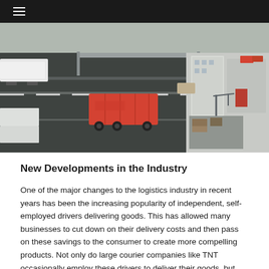≡
[Figure (photo): Aerial view of a highway with a red shipping container truck driving on it, alongside urban buildings and a loading dock area with cranes and equipment.]
New Developments in the Industry
One of the major changes to the logistics industry in recent years has been the increasing popularity of independent, self-employed drivers delivering goods. This has allowed many businesses to cut down on their delivery costs and then pass on these savings to the consumer to create more compelling products. Not only do large courier companies like TNT occasionally employ these drivers to deliver their goods, but